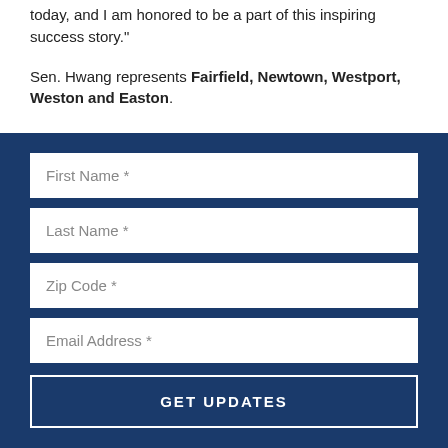today, and I am honored to be a part of this inspiring success story."
Sen. Hwang represents Fairfield, Newtown, Westport, Weston and Easton.
First Name *
Last Name *
Zip Code *
Email Address *
GET UPDATES